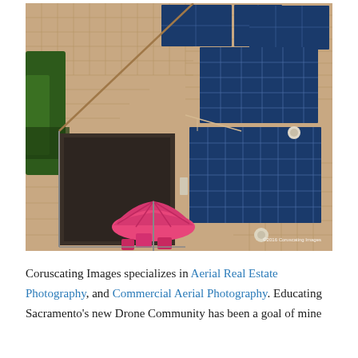[Figure (photo): Aerial drone photograph looking straight down at a residential house roof covered with brown wood shingles and multiple blue solar panels installed. A patio area is visible in the lower-left with a bright pink/magenta umbrella open above outdoor furniture. Green trees are visible at far left. A watermark reads '©2016 Coruscating Images' in the lower-right corner.]
Coruscating Images specializes in Aerial Real Estate Photography, and Commercial Aerial Photography. Educating Sacramento's new Drone Community has been a goal of mine